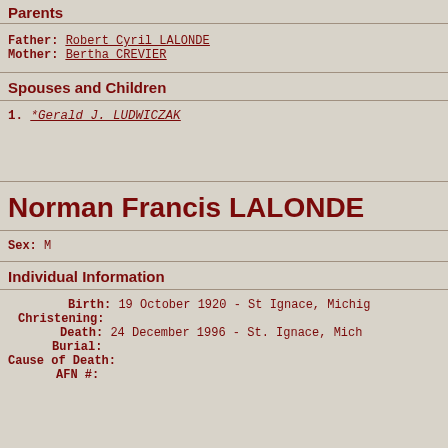Parents
Father: Robert Cyril LALONDE
Mother: Bertha CREVIER
Spouses and Children
1. *Gerald J. LUDWICZAK
Norman Francis LALONDE
Sex: M
Individual Information
Birth: 19 October 1920 - St Ignace, Michig
Christening:
Death: 24 December 1996 - St. Ignace, Mich
Burial:
Cause of Death:
AFN #: